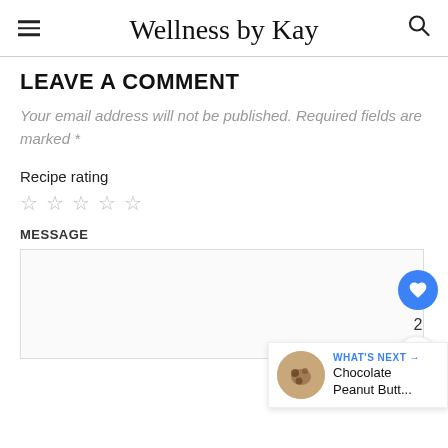Wellness by Kay
LEAVE A COMMENT
Your email address will not be published. Required fields are marked *
Recipe rating
☆ ☆ ☆ ☆ ☆
MESSAGE